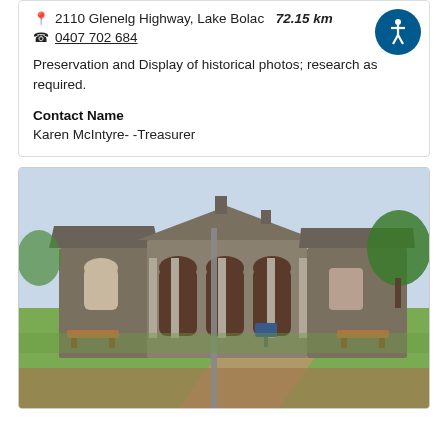2110 Glenelg Highway, Lake Bolac  72.15 km
0407 702 684
Preservation and Display of historical photos; research as required.
Contact Name
Karen McIntyre- -Treasurer
[Figure (photo): Exterior photograph of a historic stone building with arched entrance portico supported by columns, triangular pediment gable, flanking wings, set in a landscaped park with grass, benches, and trees. A tall pole is visible in the foreground.]